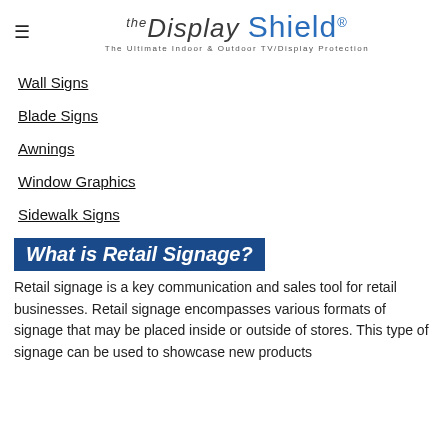The Display Shield® — The Ultimate Indoor & Outdoor TV/Display Protection
Wall Signs
Blade Signs
Awnings
Window Graphics
Sidewalk Signs
What is Retail Signage?
Retail signage is a key communication and sales tool for retail businesses. Retail signage encompasses various formats of signage that may be placed inside or outside of stores. This type of signage can be used to showcase new products